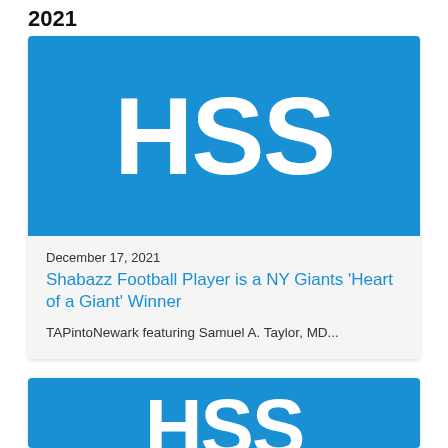2021
[Figure (logo): HSS (Hospital for Special Surgery) logo — white bold letters 'HSS' on a bright blue background]
December 17, 2021
Shabazz Football Player is a NY Giants 'Heart of a Giant' Winner
TAPintoNewark featuring Samuel A. Taylor, MD...
[Figure (logo): HSS logo partially visible — white bold letters on bright blue background, cropped at bottom of page]